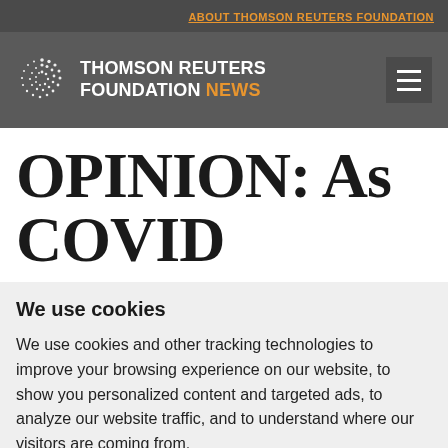ABOUT THOMSON REUTERS FOUNDATION
[Figure (logo): Thomson Reuters Foundation News logo with spiral dot icon]
OPINION: As COVID
We use cookies
We use cookies and other tracking technologies to improve your browsing experience on our website, to show you personalized content and targeted ads, to analyze our website traffic, and to understand where our visitors are coming from.